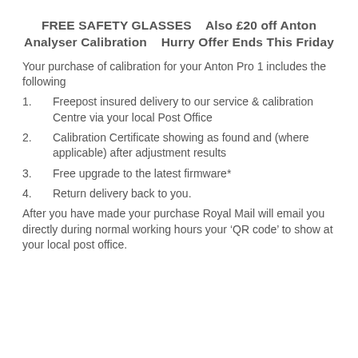FREE SAFETY GLASSES    Also £20 off Anton Analyser Calibration    Hurry Offer Ends This Friday
Your purchase of calibration for your Anton Pro 1 includes the following
1.       Freepost insured delivery to our service & calibration Centre via your local Post Office
2.       Calibration Certificate showing as found and (where applicable) after adjustment results
3.       Free upgrade to the latest firmware*
4.       Return delivery back to you.
After you have made your purchase Royal Mail will email you directly during normal working hours your 'QR code' to show at your local post office.